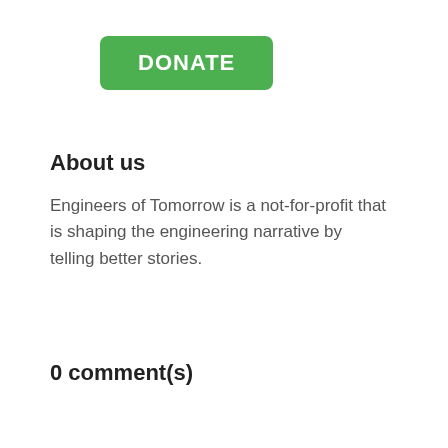[Figure (other): Green rounded rectangle button with white bold text reading DONATE]
About us
Engineers of Tomorrow is a not-for-profit that is shaping the engineering narrative by telling better stories.
0 comment(s)